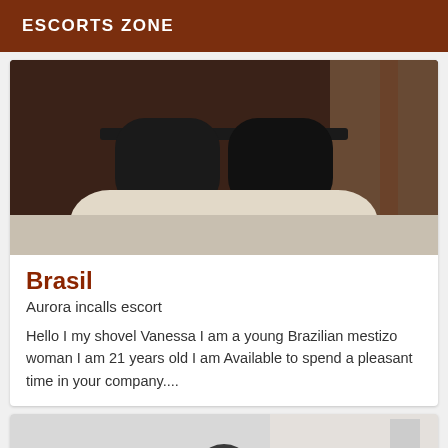ESCORTS ZONE
[Figure (photo): Photo showing lower body in black shorts near a bathroom sink with brown/dark background]
Brasil
Aurora incalls escort
Hello I my shovel Vanessa I am a young Brazilian mestizo woman I am 21 years old I am Available to spend a pleasant time in your company....
[Figure (photo): Black and white photo showing a person from shoulders up with dark hair, indoor setting with white wall]